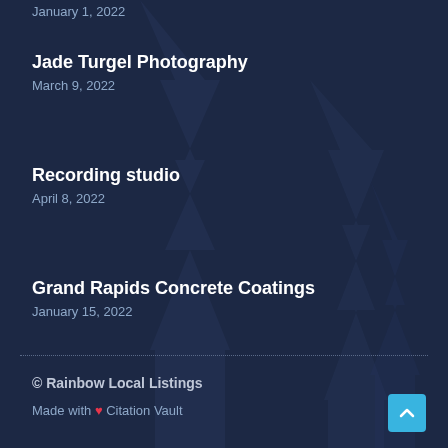January 1, 2022
Jade Turgel Photography
March 9, 2022
Recording studio
April 8, 2022
Grand Rapids Concrete Coatings
January 15, 2022
© Rainbow Local Listings
Made with ❤ Citation Vault